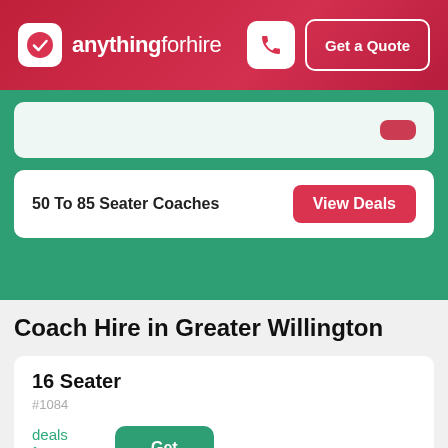anythingforhire — Get a Quote
50 To 85 Seater Coaches — View Deals
Coach Hire in Greater Willington
16 Seater
#1084
deals from £175
Get Quotes